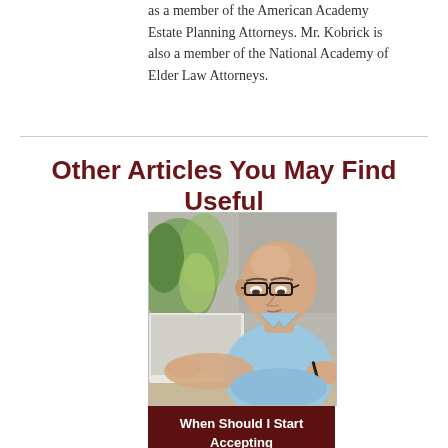as a member of the American Academy Estate Planning Attorneys. Mr. Kobrick is also a member of the National Academy of Elder Law Attorneys.
Other Articles You May Find Useful
[Figure (photo): Middle-aged bald man wearing glasses and a light blue polo shirt, looking down at a laptop computer, holding a pen over papers on a desk.]
When Should I Start Accepting Social Security Retirement Benefits?